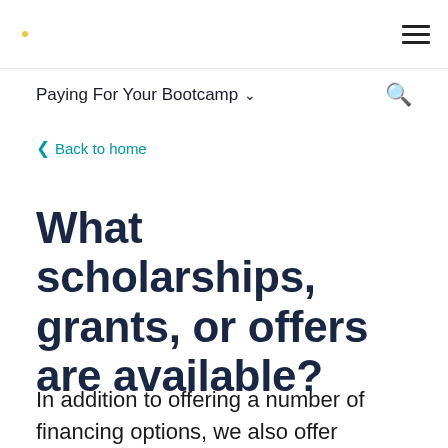Paying For Your Bootcamp
Back to home
What scholarships, grants, or offers are available?
In addition to offering a number of financing options, we also offer scholarships, grants, and other ways